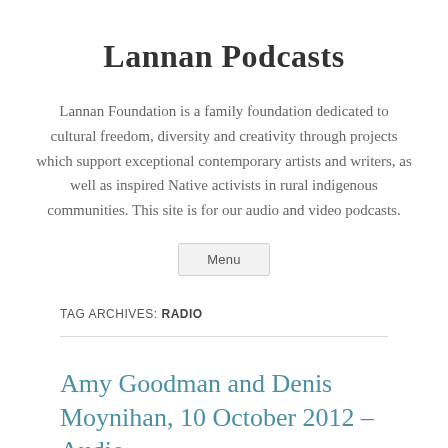Lannan Podcasts
Lannan Foundation is a family foundation dedicated to cultural freedom, diversity and creativity through projects which support exceptional contemporary artists and writers, as well as inspired Native activists in rural indigenous communities. This site is for our audio and video podcasts.
Menu
TAG ARCHIVES: RADIO
Amy Goodman and Denis Moynihan, 10 October 2012 – Audio